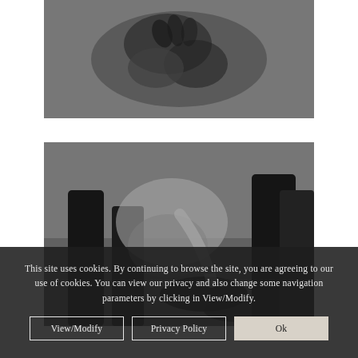[Figure (photo): Black and white close-up photograph of hands and torso of a person in formal attire]
[Figure (photo): Black and white photograph of people in formal suits, one person bending down adjusting a shoe]
This site uses cookies. By continuing to browse the site, you are agreeing to our use of cookies. You can view our privacy and also change some navigation parameters by clicking in View/Modify.
View/Modify
Privacy Policy
Ok